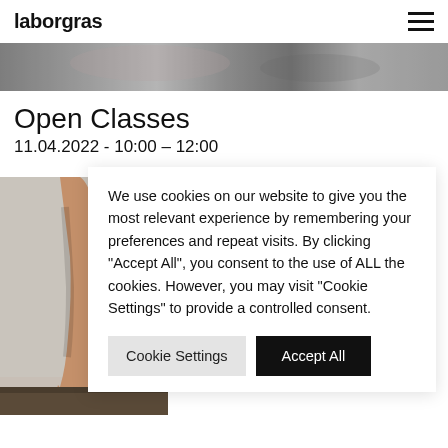laborgras
[Figure (photo): Blurred hero banner image with dark and light gray tones]
Open Classes
11.04.2022 - 10:00 – 12:00
[Figure (photo): Photo of a person's arm and hand pressed against a floor, artistic dance/movement image]
We use cookies on our website to give you the most relevant experience by remembering your preferences and repeat visits. By clicking "Accept All", you consent to the use of ALL the cookies. However, you may visit "Cookie Settings" to provide a controlled consent.
Cookie Settings   Accept All